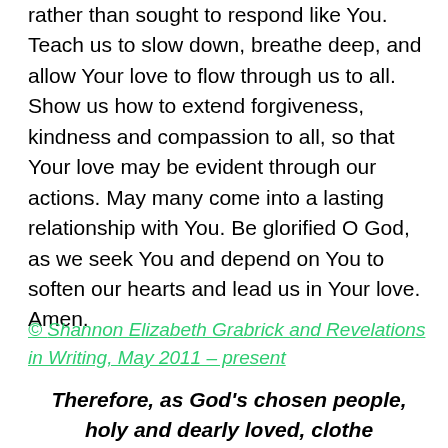rather than sought to respond like You. Teach us to slow down, breathe deep, and allow Your love to flow through us to all. Show us how to extend forgiveness, kindness and compassion to all, so that Your love may be evident through our actions. May many come into a lasting relationship with You. Be glorified O God, as we seek You and depend on You to soften our hearts and lead us in Your love. Amen.
© Shannon Elizabeth Grabrick and Revelations in Writing, May 2011 – present
Therefore, as God's chosen people, holy and dearly loved, clothe yourselves with